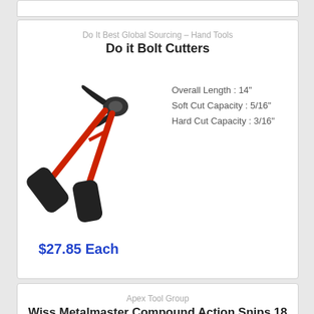Do It Best Global Sourcing – Hand Tools
Do it Bolt Cutters
[Figure (illustration): Red and black bolt cutters with black rubber grip handles]
Overall Length : 14"
Soft Cut Capacity : 5/16"
Hard Cut Capacity : 3/16"
$27.85 Each
Apex Tool Group
Wiss Metalmaster Compound Action Snips 18 Ga. CRS, Left/Straight
[Figure (photo): Silver/grey metalmaster compound action snips tool]
Length : 9-3/4 In.
Type : Aviation
Style : Left/Straight